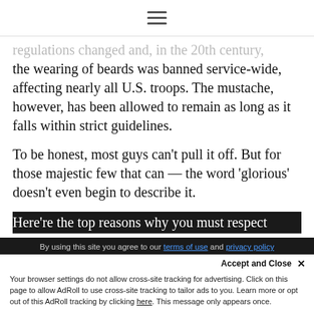[hamburger menu icon]
regulations changed and, in the 20th century, the wearing of beards was banned service-wide, affecting nearly all U.S. troops. The mustache, however, has been allowed to remain as long as it falls within strict guidelines.
To be honest, most guys can't pull it off. But for those majestic few that can — the word 'glorious' doesn't even begin to describe it.
Here're the top reasons why you must respect
By using this site you agree to our terms of use and privacy policy
Accept and Close ✕
Your browser settings do not allow cross-site tracking for advertising. Click on this page to allow AdRoll to use cross-site tracking to tailor ads to you. Learn more or opt out of this AdRoll tracking by clicking here. This message only appears once.